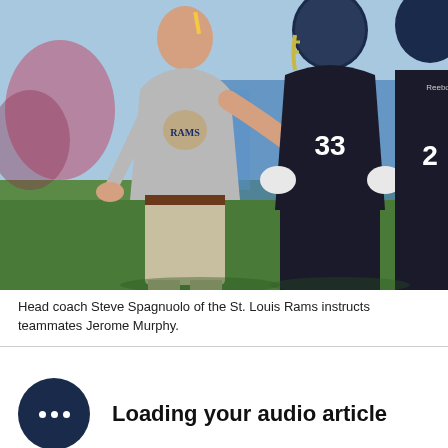[Figure (photo): Head coach Steve Spagnuolo of the St. Louis Rams wearing a grey Rams t-shirt, pointing with his right hand toward NFL players in dark navy/black jerseys and helmets during a practice session on a green field with a blue background.]
Head coach Steve Spagnuolo of the St. Louis Rams instructs teammates Jerome Murphy.
Loading your audio article